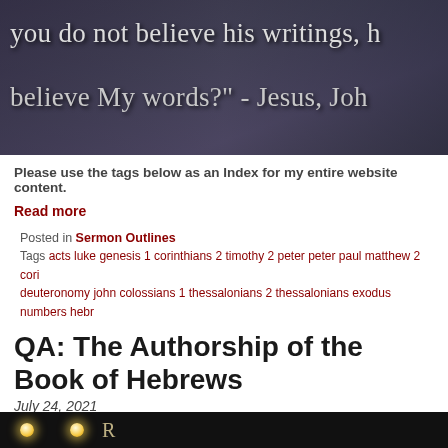[Figure (photo): Dark banner image with white serif text reading 'you do not believe his writings, h...' and 'believe My words?' - Jesus, Joh...' on a dark blueish-grey background with a subtle book/quill imagery.]
Please use the tags below as an Index for my entire website content.
Read more
Posted in Sermon Outlines
Tags acts luke genesis 1 corinthians 2 timothy 2 peter peter paul matthew 2 cori... deuteronomy john colossians 1 thessalonians 2 thessalonians exodus numbers hebr...
QA: The Authorship of the Book of Hebrews
July 24, 2021
My QA: The Authorship of Hebrews, from May 6, 2020, is now available in Comment... Questions Answered.
[Figure (photo): Bottom partial image showing dark background with warm glowing lights, partial serif text visible.]